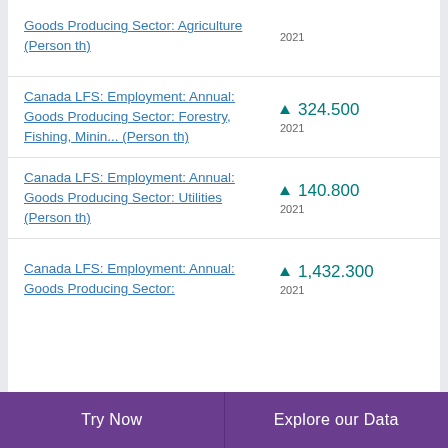Canada LFS: Employment: Annual: Goods Producing Sector: Agriculture (Person th)
Canada LFS: Employment: Annual: Goods Producing Sector: Forestry, Fishing, Minin... (Person th)
Canada LFS: Employment: Annual: Goods Producing Sector: Utilities (Person th)
Canada LFS: Employment: Annual: Goods Producing Sector:
Try Now   Explore our Data